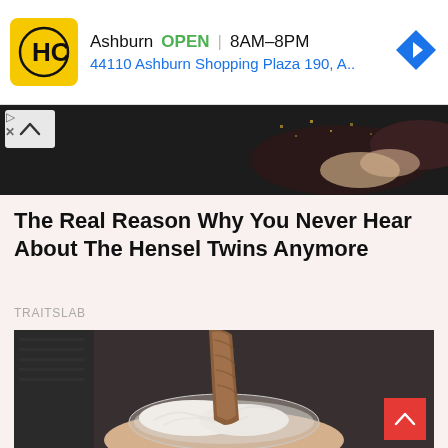[Figure (screenshot): Advertisement banner for HC (Harris Cinemas or similar) store in Ashburn. Yellow logo with HC text. Shows: Ashburn OPEN | 8AM-8PM and address 44110 Ashburn Shopping Plaza 190, A.. with a blue navigation arrow icon. Small play and X controls on left side.]
[Figure (photo): Partial photo strip showing a person in a sparkly/sequined outfit, cropped, dark background. Chevron up arrow button overlay on left.]
The Real Reason Why You Never Hear About The Hensel Twins Anymore
TRAITSLAB
[Figure (photo): Photo of a bowl of whipped cream with a churro or chocolate-covered pastry sticking out of it, held in someone's hand. Dark background.]